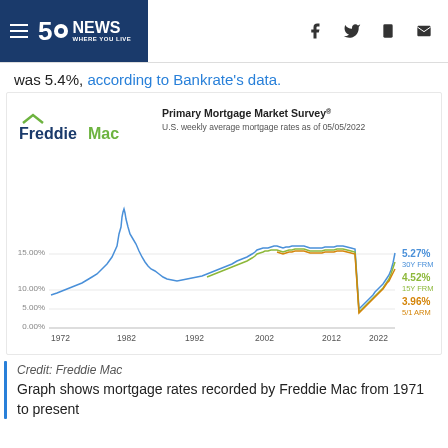5 News WHERE YOU LIVE
was 5.4%, according to Bankrate's data.
[Figure (continuous-plot): Freddie Mac Primary Mortgage Market Survey line chart showing U.S. weekly average mortgage rates as of 05/05/2022 from 1972 to 2022. Three lines: 30Y FRM (blue) ending at 5.27%, 15Y FRM (green) ending at 4.52%, 5/1 ARM (orange/brown) ending at 3.96%. Rates peaked around 1982 near 18% then declined.]
Credit: Freddie Mac
Graph shows mortgage rates recorded by Freddie Mac from 1971 to present